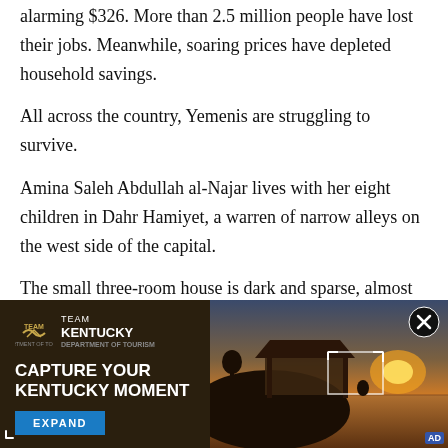alarming $326. More than 2.5 million people have lost their jobs. Meanwhile, soaring prices have depleted household savings.
All across the country, Yemenis are struggling to survive.
Amina Saleh Abdullah al-Najar lives with her eight children in Dahr Hamiyet, a warren of narrow alleys on the west side of the capital.
The small three-room house is dark and sparse, almost cavelike. A small window lets in the daylight. There is
[Figure (photo): Advertisement banner for Team Kentucky tourism campaign with sunset lakeside photo, text 'CAPTURE YOUR KENTUCKY MOMENT' and EXPAND button]